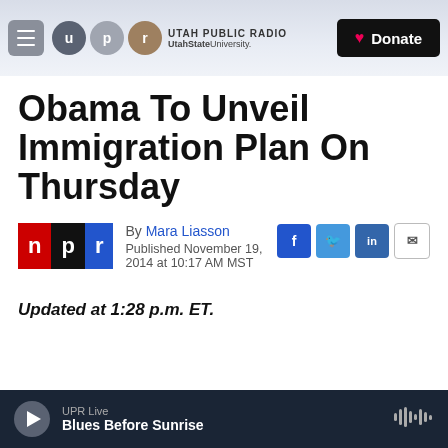Utah Public Radio | UtahState University — Donate
Obama To Unveil Immigration Plan On Thursday
By Mara Liasson
Published November 19, 2014 at 10:17 AM MST
Updated at 1:28 p.m. ET.
UPR Live — Blues Before Sunrise